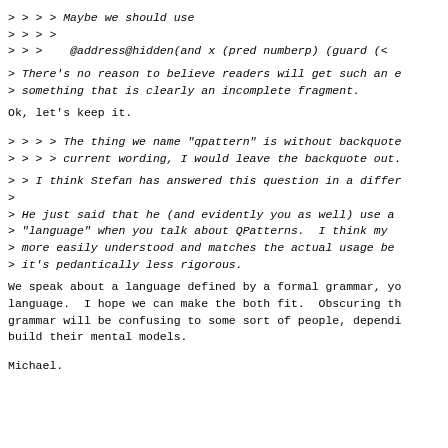> > > > Maybe we should use
> > > >
> > >    @address@hidden(and x (pred numberp) (guard (<
> There's no reason to believe readers will get such an e
> something that is clearly an incomplete fragment.
Ok, let's keep it.
> > > > The thing we name "qpattern" is without backquote
> > > > current wording, I would leave the backquote out.
> > I think Stefan has answered this question in a differ
>
> He just said that he (and evidently you as well) use a
> "language" when you talk about QPatterns.  I think my 
> more easily understood and matches the actual usage be
> it's pedantically less rigorous.
We speak about a language defined by a formal grammar, yo
language.  I hope we can make the both fit.  Obscuring th
grammar will be confusing to some sort of people, dependi
build their mental models.
Michael.